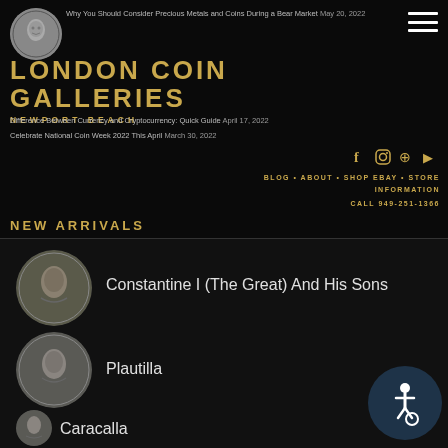[Figure (logo): Ancient coin logo circular image]
Why You Should Consider Precious Metals and Coins During a Bear Market May 20, 2022
LONDON COIN GALLERIES
NEWPORT BEACH
Difference Between Currency and Cryptocurrency: Quick Guide April 17, 2022
Celebrate National Coin Week 2022 This April March 30, 2022
BLOG • ABOUT • SHOP EBAY • STORE INFORMATION
CALL 949-251-1366
NEW ARRIVALS
[Figure (photo): Ancient Roman coin showing Constantine I portrait]
Constantine I (The Great) And His Sons
[Figure (photo): Ancient Roman coin showing Plautilla portrait]
Plautilla
[Figure (photo): Ancient Roman coin showing Caracalla portrait]
Caracalla
[Figure (illustration): Accessibility icon button - wheelchair symbol]